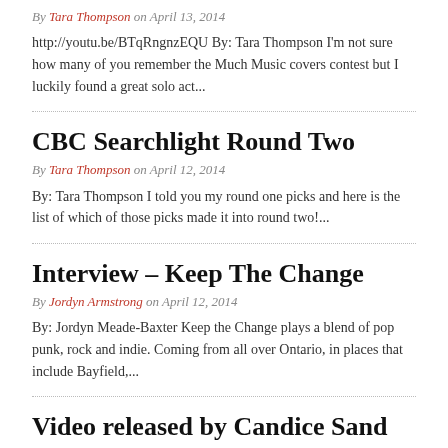By Tara Thompson on April 13, 2014
http://youtu.be/BTqRngnzEQU By: Tara Thompson I'm not sure how many of you remember the Much Music covers contest but I luckily found a great solo act...
CBC Searchlight Round Two
By Tara Thompson on April 12, 2014
By: Tara Thompson I told you my round one picks and here is the list of which of those picks made it into round two!...
Interview – Keep The Change
By Jordyn Armstrong on April 12, 2014
By: Jordyn Meade-Baxter Keep the Change plays a blend of pop punk, rock and indie. Coming from all over Ontario, in places that include Bayfield,...
Video released by Candice Sand ft. JRPN